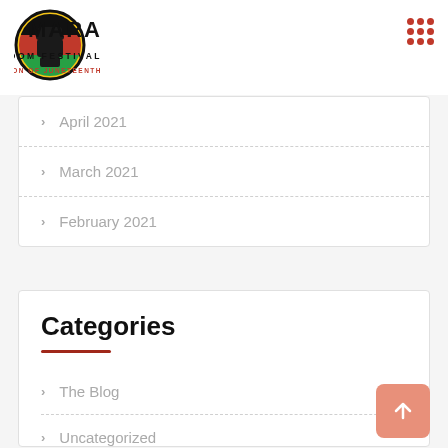[Figure (logo): Omaha Freedom Festival logo with raised fist, Pan-African colors, and text FREEDOM FESTIVAL / A CELEBRATION OF JUNETEENTH]
April 2021
March 2021
February 2021
Categories
The Blog
Uncategorized